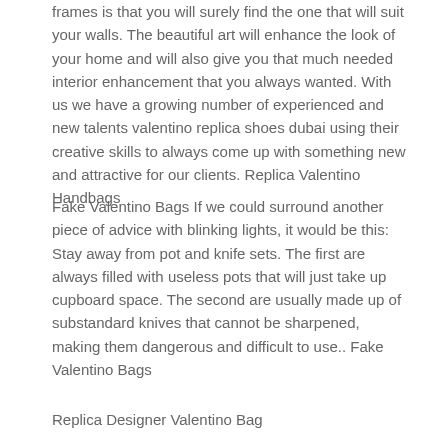frames is that you will surely find the one that will suit your walls. The beautiful art will enhance the look of your home and will also give you that much needed interior enhancement that you always wanted. With us we have a growing number of experienced and new talents valentino replica shoes dubai using their creative skills to always come up with something new and attractive for our clients. Replica Valentino Handbags
Fake Valentino Bags If we could surround another piece of advice with blinking lights, it would be this: Stay away from pot and knife sets. The first are always filled with useless pots that will just take up cupboard space. The second are usually made up of substandard knives that cannot be sharpened, making them dangerous and difficult to use.. Fake Valentino Bags
Replica Designer Valentino Bag